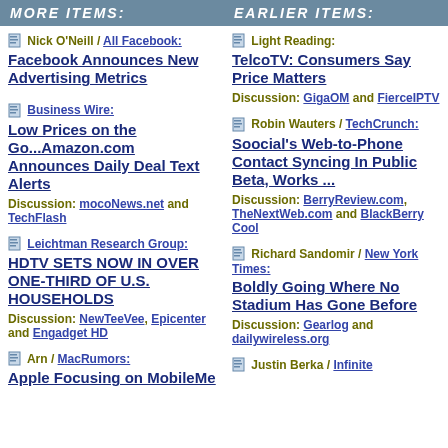MORE ITEMS:
Nick O'Neill / All Facebook: Facebook Announces New Advertising Metrics
Business Wire: Low Prices on the Go...Amazon.com Announces Daily Deal Text Alerts. Discussion: mocoNews.net and TechFlash
Leichtman Research Group: HDTV SETS NOW IN OVER ONE-THIRD OF U.S. HOUSEHOLDS. Discussion: NewTeeVee, Epicenter and Engadget HD
Arn / MacRumors: Apple Focusing on MobileMe
EARLIER ITEMS:
Light Reading: TelcoTV: Consumers Say Price Matters. Discussion: GigaOM and FierceIPTV
Robin Wauters / TechCrunch: Soocial's Web-to-Phone Contact Syncing In Public Beta, Works ... Discussion: BerryReview.com, TheNextWeb.com and BlackBerry Cool
Richard Sandomir / New York Times: Boldly Going Where No Stadium Has Gone Before. Discussion: Gearlog and dailywireless.org
Justin Berka / Infinite